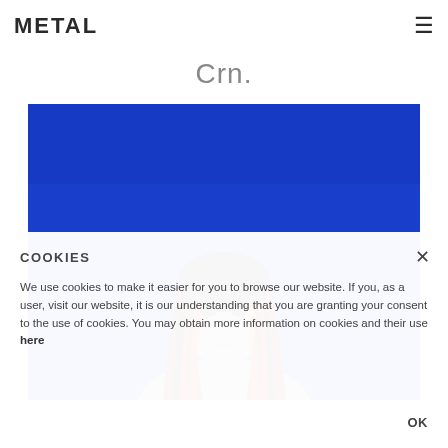METAL
Crn.
[Figure (photo): Portrait photo of a young woman with long red braided hair against a vivid blue background, torso partially visible, looking directly at camera]
COOKIES

We use cookies to make it easier for you to browse our website. If you, as a user, visit our website, it is our understanding that you are granting your consent to the use of cookies. You may obtain more information on cookies and their use here

OK